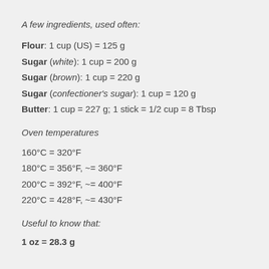A few ingredients, used often:
Flour: 1 cup (US) = 125 g
Sugar (white): 1 cup = 200 g
Sugar (brown): 1 cup = 220 g
Sugar (confectioner's sugar): 1 cup = 120 g
Butter: 1 cup = 227 g; 1 stick = 1/2 cup = 8 Tbsp
Oven temperatures
160°C = 320°F
180°C = 356°F, ~= 360°F
200°C = 392°F, ~= 400°F
220°C = 428°F, ~= 430°F
Useful to know that:
1 oz = 28.3 g